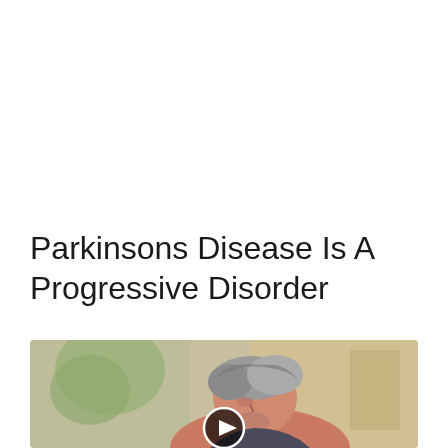Parkinsons Disease Is A Progressive Disorder
[Figure (photo): An older man with gray hair shown in profile outdoors, with a video play button overlay indicating this is a video thumbnail. Background shows blurred outdoor scene with trees and building.]